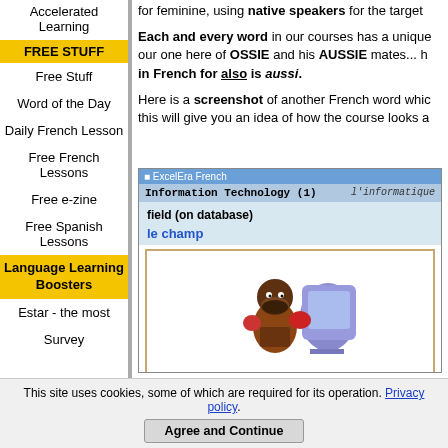Accelerated Learning
FREE STUFF
Free Stuff
Word of the Day
Daily French Lesson
Free French Lessons
Free e-zine
Free Spanish Lessons
Language Learning Boosters
Estar - the most
Survey
for feminine, using native speakers for the target...
Each and every word in our courses has a unique... our one here of OSSIE and his AUSSIE mates... h... in French for also is aussi.
Here is a screenshot of another French word whic... this will give you an idea of how the course looks a...
[Figure (screenshot): Screenshot of ExcelEra French software showing 'Information Technology (1)' lesson with 'l’informatique', English term 'field (on database)', French translation 'le champ', and a cartoon illustration of a man boxing a computer.]
This site uses cookies, some of which are required for its operation. Privacy policy
Agree and Continue